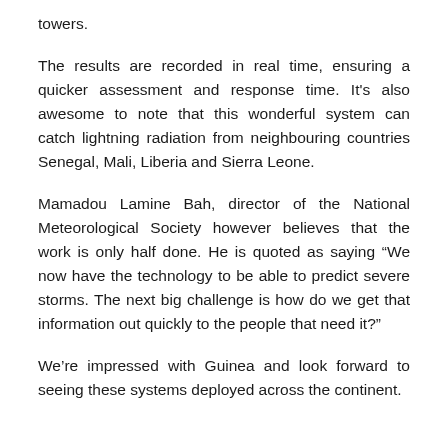towers.
The results are recorded in real time, ensuring a quicker assessment and response time. It's also awesome to note that this wonderful system can catch lightning radiation from neighbouring countries Senegal, Mali, Liberia and Sierra Leone.
Mamadou Lamine Bah, director of the National Meteorological Society however believes that the work is only half done. He is quoted as saying “We now have the technology to be able to predict severe storms. The next big challenge is how do we get that information out quickly to the people that need it?”
We’re impressed with Guinea and look forward to seeing these systems deployed across the continent.